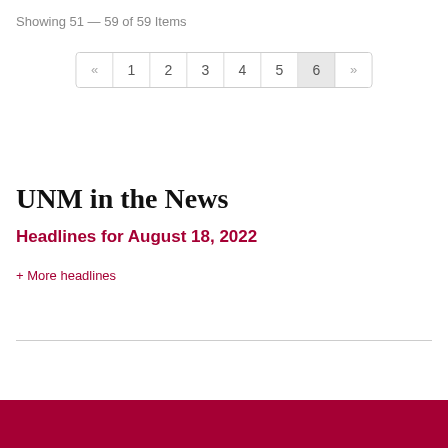Showing 51 — 59 of 59 Items
[Figure (other): Pagination control showing pages 1 through 6, with page 6 highlighted as active, and navigation arrows «  and »]
UNM in the News
Headlines for August 18, 2022
+ More headlines